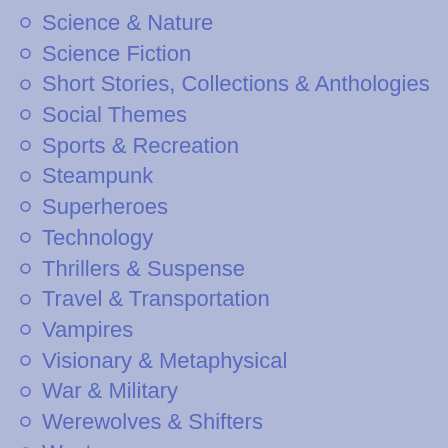Science & Nature
Science Fiction
Short Stories, Collections & Anthologies
Social Themes
Sports & Recreation
Steampunk
Superheroes
Technology
Thrillers & Suspense
Travel & Transportation
Vampires
Visionary & Metaphysical
War & Military
Werewolves & Shifters
Westerns
Zombies